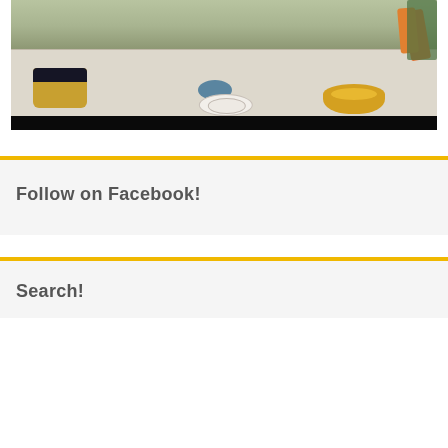[Figure (photo): A food spread on a white tablecloth featuring a wicker basket with food, a yellow bowl with dip, a blue pedestal bowl with garnished dip, a stack of Christmas tree plates, and carrot sticks. The bottom of the image fades to black.]
Follow on Facebook!
Search!